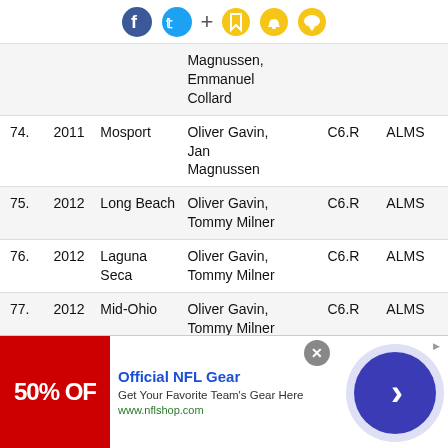[Figure (screenshot): Social media toolbar with Facebook, Twitter, plus, bookmark, bell, and chat icons]
|  |  | Magnussen, Emmanuel Collard |  |  |
| 74. | 2011 | Mosport | Oliver Gavin, Jan Magnussen | C6.R | ALMS |
| 75. | 2012 | Long Beach | Oliver Gavin, Tommy Milner | C6.R | ALMS |
| 76. | 2012 | Laguna Seca | Oliver Gavin, Tommy Milner | C6.R | ALMS |
| 77. | 2012 | Mid-Ohio | Oliver Gavin, Tommy Milner | C6.R | ALMS |
| 78. | 2012 | VIR | Oliver Gavin, | C6.R | ALMS |
[Figure (screenshot): NFL Gear advertisement banner: Official NFL Gear, Get Your Favorite Team's Gear Here, www.nflshop.com]